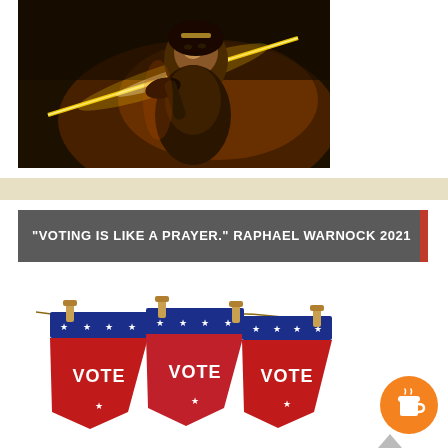[Figure (illustration): Fantasy warrior woman (Wonder Woman style) wielding a glowing golden spear/lance against a dark fiery background]
“VOTING IS LIKE A PRAYER.” RAPHAEL WARNOCK 2021
[Figure (illustration): Three red and blue patriotic pennant/flag banners hanging on a clothesline with wooden clothespins, each reading VOTE in white text with stars]